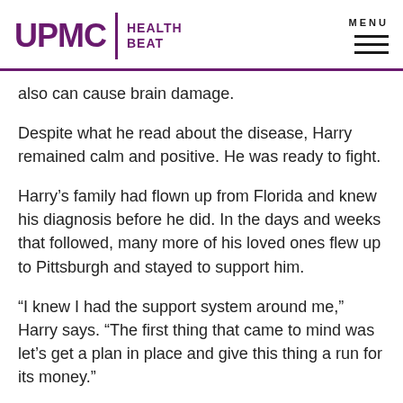UPMC | HEALTH BEAT
also can cause brain damage.
Despite what he read about the disease, Harry remained calm and positive. He was ready to fight.
Harry's family had flown up from Florida and knew his diagnosis before he did. In the days and weeks that followed, many more of his loved ones flew up to Pittsburgh and stayed to support him.
“I knew I had the support system around me,” Harry says. “The first thing that came to mind was let’s get a plan in place and give this thing a run for its money.”